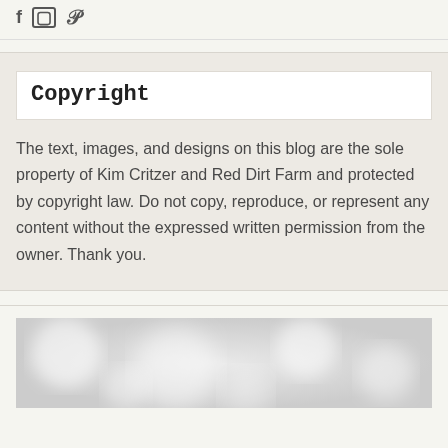[Figure (other): Social media icons: Facebook, Instagram, Pinterest]
Copyright
The text, images, and designs on this blog are the sole property of Kim Critzer and Red Dirt Farm and protected by copyright law. Do not copy, reproduce, or represent any content without the expressed written permission from the owner. Thank you.
[Figure (photo): Blurred bokeh background photo in grayscale/white tones]